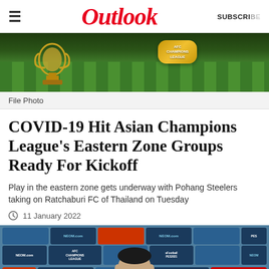Outlook
[Figure (photo): AFC Champions League trophy on a football pitch with green grass, golden AFC Champions League badge visible]
File Photo
COVID-19 Hit Asian Champions League's Eastern Zone Groups Ready For Kickoff
Play in the eastern zone gets underway with Pohang Steelers taking on Ratchaburi FC of Thailand on Tuesday
11 January 2022
[Figure (photo): Press conference background with AFC Champions League, NEOM.com, KONAMI, eFootball PES2021 sponsor logos, person wearing black mask in foreground]